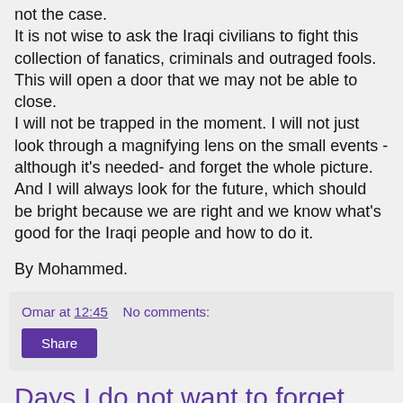not the case.
It is not wise to ask the Iraqi civilians to fight this collection of fanatics, criminals and outraged fools. This will open a door that we may not be able to close.
I will not be trapped in the moment. I will not just look through a magnifying lens on the small events -although it's needed- and forget the whole picture. And I will always look for the future, which should be bright because we are right and we know what's good for the Iraqi people and how to do it.
By Mohammed.
Omar at 12:45    No comments:
Share
Days I do not want to forget.
The day, Saturday, the 5th of April 2003.